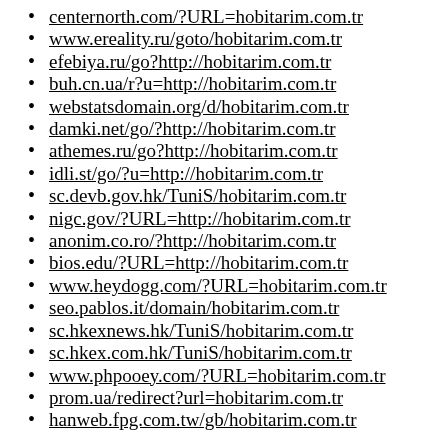centernorth.com/?URL=hobitarim.com.tr
www.ereality.ru/goto/hobitarim.com.tr
efebiya.ru/go?http://hobitarim.com.tr
buh.cn.ua/r?u=http://hobitarim.com.tr
webstatsdomain.org/d/hobitarim.com.tr
damki.net/go/?http://hobitarim.com.tr
athemes.ru/go?http://hobitarim.com.tr
idli.st/go/?u=http://hobitarim.com.tr
sc.devb.gov.hk/TuniS/hobitarim.com.tr
nigc.gov/?URL=http://hobitarim.com.tr
anonim.co.ro/?http://hobitarim.com.tr
bios.edu/?URL=http://hobitarim.com.tr
www.heydogg.com/?URL=hobitarim.com.tr
seo.pablos.it/domain/hobitarim.com.tr
sc.hkexnews.hk/TuniS/hobitarim.com.tr
sc.hkex.com.hk/TuniS/hobitarim.com.tr
www.phpooey.com/?URL=hobitarim.com.tr
prom.ua/redirect?url=hobitarim.com.tr
hanweb.fpg.com.tw/gb/hobitarim.com.tr